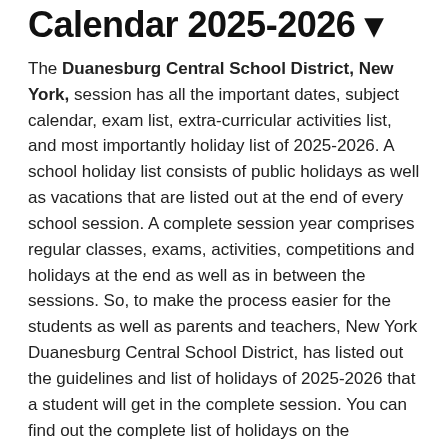Calendar 2025-2026 ▾
The Duanesburg Central School District, New York, session has all the important dates, subject calendar, exam list, extra-curricular activities list, and most importantly holiday list of 2025-2026. A school holiday list consists of public holidays as well as vacations that are listed out at the end of every school session. A complete session year comprises regular classes, exams, activities, competitions and holidays at the end as well as in between the sessions. So, to make the process easier for the students as well as parents and teachers, New York Duanesburg Central School District, has listed out the guidelines and list of holidays of 2025-2026 that a student will get in the complete session. You can find out the complete list of holidays on the Duanesburg Central School District, New York, website.